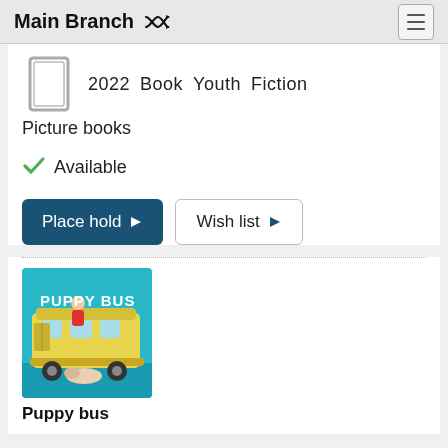Main Branch
2022  Book  Youth  Fiction
Picture books
Available
Place hold
Wish list
[Figure (illustration): Book cover for 'Puppy Bus' showing a yellow school bus with a puppy underneath and a child waving]
Puppy bus